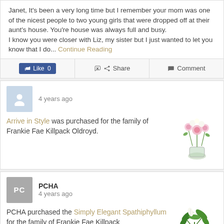Janet, It's been a very long time but I remember your mom was one of the nicest people to two young girls that were dropped off at their aunt's house. You're house was always full and busy.
I know you were closer with Liz, my sister but I just wanted to let you know that I do... Continue Reading
4 years ago
Arrive in Style was purchased for the family of Frankie Fae Killpack Oldroyd.
[Figure (photo): Pink and white flower bouquet arrangement in a glass vase]
PCHA
4 years ago
PCHA purchased the Simply Elegant Spathiphyllum for the family of Frankie Fae Killpack
[Figure (photo): Green plant (spathiphyllum) in a pot]